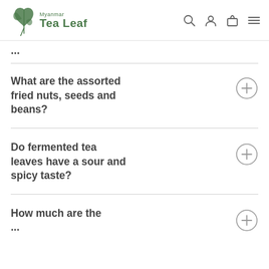Myanmar Tea Leaf
...
What are the assorted fried nuts, seeds and beans?
Do fermented tea leaves have a sour and spicy taste?
How much are the ...